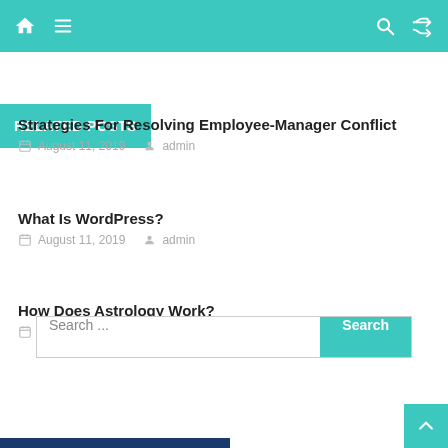Navigation bar with home, menu, search, shuffle icons
RELATED POSTS
Strategies For Resolving Employee-Manager Conflict
August 11, 2019  admin
What Is WordPress?
August 11, 2019  admin
How Does Astrology Work?
August 11, 2019  admin
Search ...